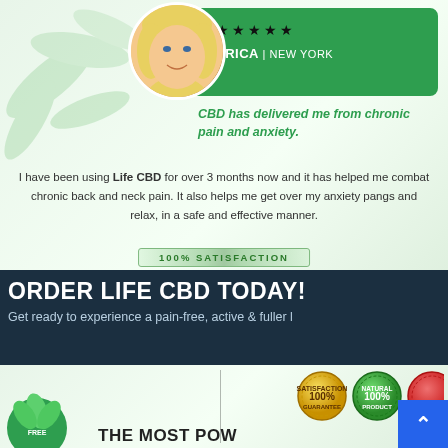[Figure (photo): Blonde woman smiling, circular profile photo inside a green rounded card with 5 stars and name ERICA | NEW YORK]
CBD has delivered me from chronic pain and anxiety.
I have been using Life CBD for over 3 months now and it has helped me combat chronic back and neck pain. It also helps me get over my anxiety pangs and relax, in a safe and effective manner.
100% SATISFACTION
ORDER LIFE CBD TODAY!
Get ready to experience a pain-free, active & fuller l
[Figure (logo): Three circular seal/badge emblems: gold 100% Satisfaction Guarantee, green 100% Natural Product, red badge partially cut off]
THE MOST POW